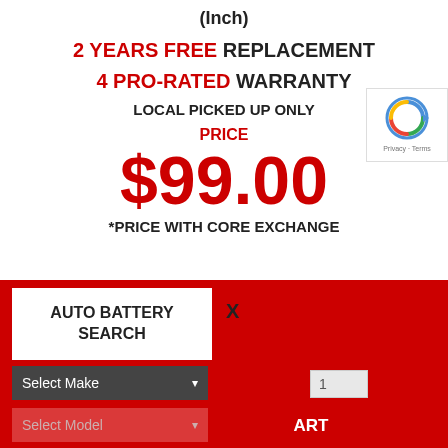(Inch)
2 YEARS FREE REPLACEMENT
4 PRO-RATED WARRANTY
LOCAL PICKED UP ONLY
PRICE
$99.00
*PRICE WITH CORE EXCHANGE
AUTO BATTERY SEARCH
X
Select Make
Select Model
ART